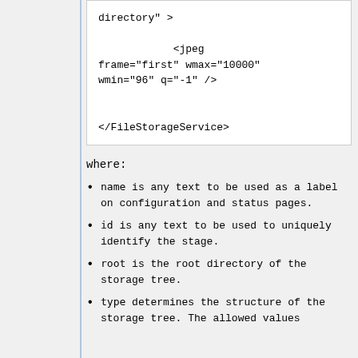directory" >

                <jpeg frame="first" wmax="10000" wmin="96" q="-1" />


    </FileStorageService>
where:
name is any text to be used as a label on configuration and status pages.
id is any text to be used to uniquely identify the stage.
root is the root directory of the storage tree.
type determines the structure of the storage tree. The allowed values